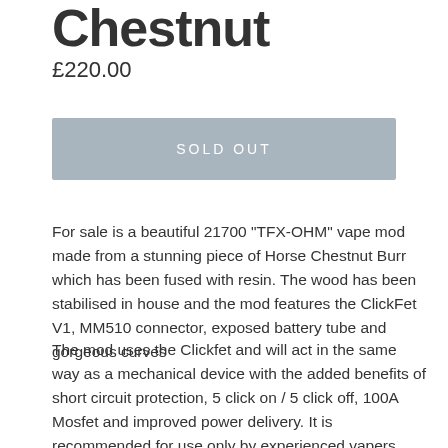Chestnut
£220.00
SOLD OUT
For sale is a beautiful 21700 "TFX-OHM" vape mod made from a stunning piece of Horse Chestnut Burr which has been fused with resin. The wood has been stabilised in house and the mod features the ClickFet V1, MM510 connector, exposed battery tube and gorgeous curves
The mod uses the Clickfet and will act in the same way as a mechanical device with the added benefits of short circuit protection, 5 click on / 5 click off, 100A Mosfet and improved power delivery. It is recommended for use only by experienced vapers who have a good understanding of battery safety, Ohms Law and common sense. TurnWoodFX accepts no responsibility for how you use the device